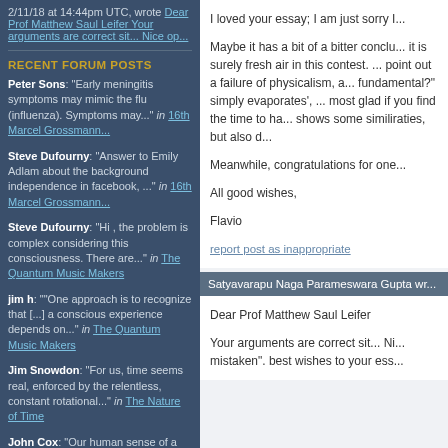2/11/18 at 14:44pm UTC, wrote Dear Prof Matthew Saul Leifer Your arguments are correct sit... Nice op...
RECENT FORUM POSTS
Peter Sons: "Early meningitis symptoms may mimic the flu (influenza). Symptoms may..." in 16th Marcel Grossmann...
Steve Dufourny: "Answer to Emily Adlam about the background independence in facebook, ..." in 16th Marcel Grossmann...
Steve Dufourny: "Hi , the problem is complex considering this consciousness. There are..." in The Quantum Music Makers
jim h: ""One approach is to recognize that [...] a conscious experience depends on..." in The Quantum Music Makers
Jim Snowdon: "For us, time seems real, enforced by the relentless, constant rotational..." in The Nature of Time
John Cox: "Our human sense of a flow of time only suggests that there ..." in ...
I loved your essay; I am just sorry I...
Maybe it has a bit of a bitter conclu... it is surely fresh air in this contest. ... point out a failure of physicalism, a... fundamental?" simply evaporates', ... most glad if you find the time to ha... shows some similiraties, but also d...
Meanwhile, congratulations for one...
All good wishes,
Flavio
report post as inappropriate
Satyavarapu Naga Parameswara Gupta wr...
Dear Prof Matthew Saul Leifer
Your arguments are correct sit... Ni... mistaken". best wishes to your ess...